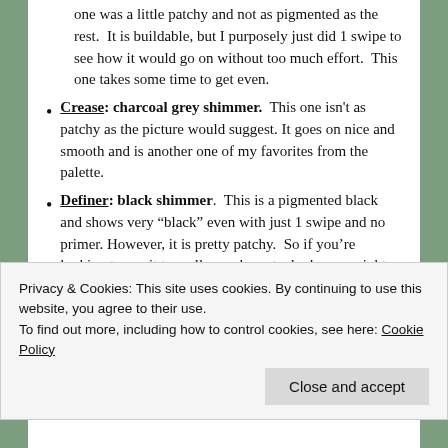one was a little patchy and not as pigmented as the rest. It is buildable, but I purposely just did 1 swipe to see how it would go on without too much effort. This one takes some time to get even.
Crease: charcoal grey shimmer. This one isn't as patchy as the picture would suggest. It goes on nice and smooth and is another one of my favorites from the palette.
Definer: black shimmer. This is a pigmented black and shows very "black" even with just 1 swipe and no primer. However, it is pretty patchy. So if you're looking to use it to really smoke out a look, you might have to work with it a little.
Privacy & Cookies: This site uses cookies. By continuing to use this website, you agree to their use. To find out more, including how to control cookies, see here: Cookie Policy